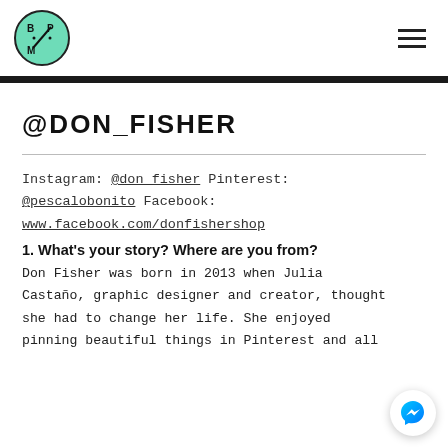BPM logo and hamburger menu navigation
@DON_FISHER
Instagram: @don_fisher Pinterest: @pescalobonito Facebook: www.facebook.com/donfishershop
1. What's your story? Where are you from?
Don Fisher was born in 2013 when Julia Castaño, graphic designer and creator, thought she had to change her life. She enjoyed pinning beautiful things in Pinterest and all